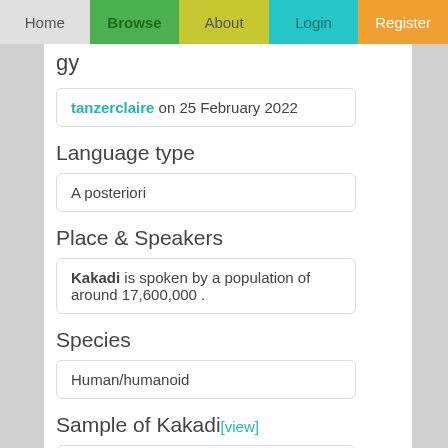Home | Browse | About | Login | Register
tanzerclaire on 25 February 2022
Language type
A posteriori
Place & Speakers
Kakadi is spoken by a population of around 17,600,000 .
Species
Human/humanoid
Sample of Kakadi [view]
Papařaš selimil, / namo siřov sankid, / křiniko čamav / klavido večavat /